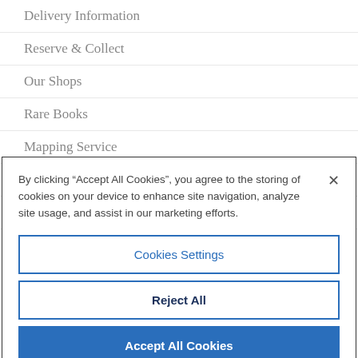Delivery Information
Reserve & Collect
Our Shops
Rare Books
Mapping Service
Edinburgh Schools
Blackwell's Gift Cards
By clicking “Accept All Cookies”, you agree to the storing of cookies on your device to enhance site navigation, analyze site usage, and assist in our marketing efforts.
Cookies Settings
Reject All
Accept All Cookies